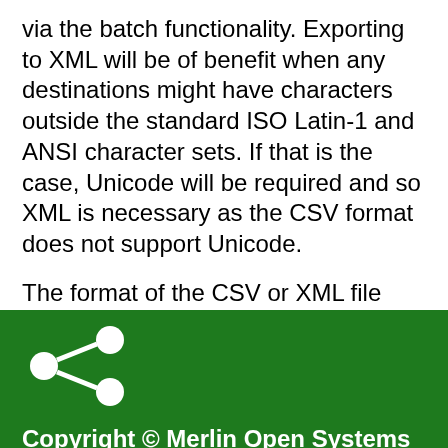via the batch functionality. Exporting to XML will be of benefit when any destinations might have characters outside the standard ISO Latin-1 and ANSI character sets. If that is the case, Unicode will be required and so XML is necessary as the CSV format does not support Unicode.
The format of the CSV or XML file contains rows and columns as detailed in the [PDF icon]Name It Online Guide.
[Figure (illustration): Share icon (white on green background): three circles connected by two lines forming a share/network symbol]
Copyright © Merlin Open Systems 1997–2022